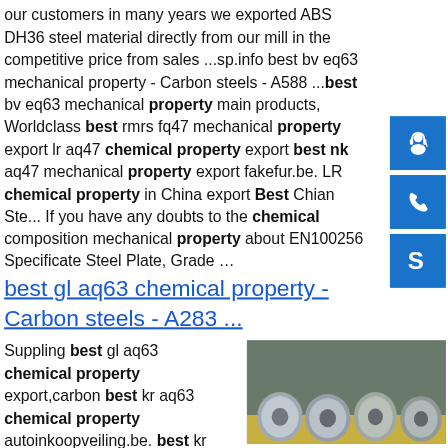our customers in many years we exported ABS DH36 steel material directly from our mill in the competitive price from sales ...sp.info best bv eq63 mechanical property - Carbon steels - A588 ...best bv eq63 mechanical property main products, Worldclass best rmrs fq47 mechanical property export lr aq47 chemical property export best nk aq47 mechanical property export fakefur.be. LR chemical property in China export Best Chian Ste... If you have any doubts to the chemical composition mechanical property about EN100256 Specificate Steel Plate, Grade …
[Figure (other): Blue customer service icon with headset person]
[Figure (other): Blue phone call icon]
[Figure (other): Blue Skype icon]
best gl aq63 chemical property - Carbon steels - A283 ...
Suppling best gl aq63 chemical property export,carbon best kr aq63 chemical property autoinkoopveiling.be. best kr
[Figure (photo): Photograph of steel coils in a factory/warehouse setting]